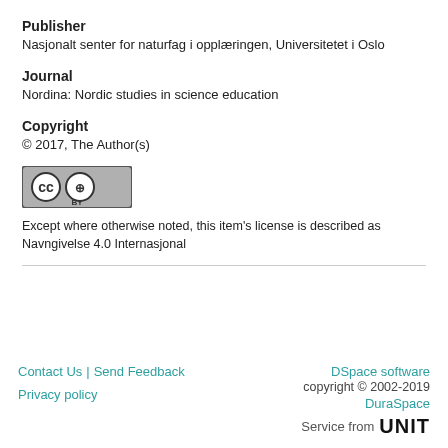Publisher
Nasjonalt senter for naturfag i opplæringen, Universitetet i Oslo
Journal
Nordina: Nordic studies in science education
Copyright
© 2017, The Author(s)
[Figure (logo): Creative Commons CC BY license badge]
Except where otherwise noted, this item's license is described as Navngivelse 4.0 Internasjonal
Contact Us | Send Feedback   DSpace software copyright © 2002-2019 DuraSpace   Privacy policy   Service from UNIT